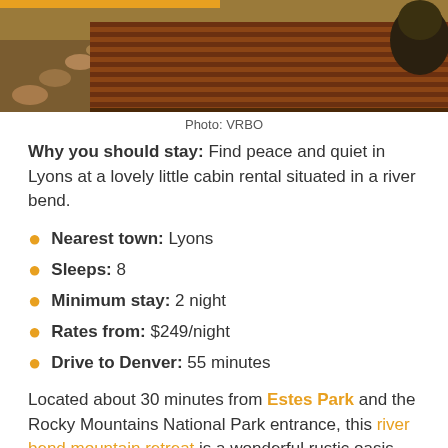[Figure (photo): Outdoor wooden deck with reddish-brown planks, stone path stepping stones in dirt/gravel foreground, and wicker furniture on the deck. Mountain cabin setting.]
Photo: VRBO
Why you should stay: Find peace and quiet in Lyons at a lovely little cabin rental situated in a river bend.
Nearest town: Lyons
Sleeps: 8
Minimum stay: 2 night
Rates from: $249/night
Drive to Denver: 55 minutes
Located about 30 minutes from Estes Park and the Rocky Mountains National Park entrance, this river bend mountain retreat is a wonderful rustic oasis that allows pups. It boasts a wooden deck with